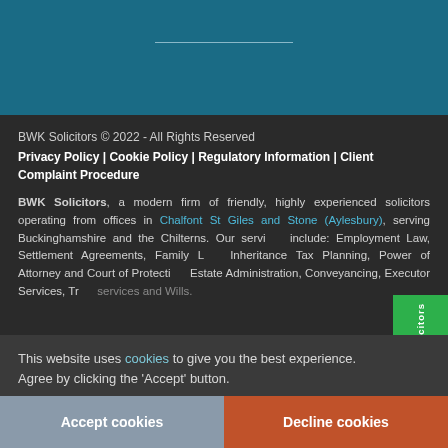[Figure (other): Teal/dark blue header banner with a light horizontal divider line]
BWK Solicitors © 2022 - All Rights Reserved
Privacy Policy | Cookie Policy | Regulatory Information | Client Complaint Procedure

BWK Solicitors, a modern firm of friendly, highly experienced solicitors operating from offices in Chalfont St Giles and Stone (Aylesbury), serving Buckinghamshire and the Chilterns. Our services include: Employment Law, Settlement Agreements, Family Law, Inheritance Tax Planning, Power of Attorney and Court of Protection, Estate Administration, Conveyancing, Executor Services, Trust Services and Wills.
This website uses cookies to give you the best experience. Agree by clicking the 'Accept' button.
[Figure (logo): reviewsolicitors green badge with white chevron logo]